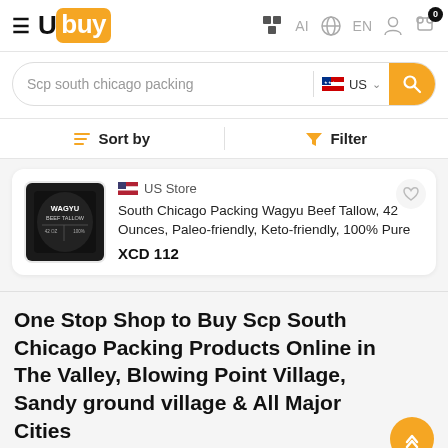[Figure (screenshot): Ubuy e-commerce website header with hamburger menu, Ubuy logo, AI icon, EN language selector, user icon, and cart icon with 0 badge]
[Figure (screenshot): Search bar with text 'Scp south chicago packing', US flag locale selector, and orange search button]
Sort by
Filter
[Figure (photo): Black tin can product image - Wagyu Beef Tallow]
US Store
South Chicago Packing Wagyu Beef Tallow, 42 Ounces, Paleo-friendly, Keto-friendly, 100% Pure
XCD 112
One Stop Shop to Buy Scp South Chicago Packing Products Online in The Valley, Blowing Point Village, Sandy ground village & All Major Cities